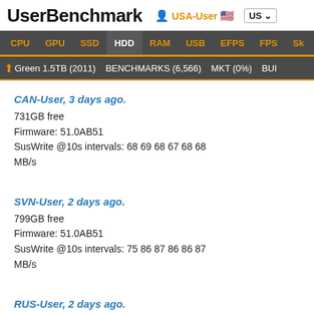UserBenchmark | USA-User | US
CPU | GPU | SSD | HDD | RAM | USB | EFPS | FPS | Sk
↑ Green 1.5TB (2011) | BENCHMARKS (6,566) | MKT (0%) | BUI
CAN-User, 3 days ago.
731GB free
Firmware: 51.0AB51
SusWrite @10s intervals: 68 69 68 67 68 68
MB/s
SVN-User, 2 days ago.
799GB free
Firmware: 51.0AB51
SusWrite @10s intervals: 75 86 87 86 86 87
MB/s
RUS-User, 2 days ago.
691GB free
Firmware: 51.0AB51